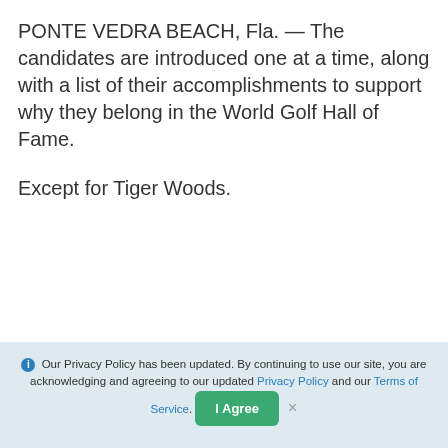PONTE VEDRA BEACH, Fla. — The candidates are introduced one at a time, along with a list of their accomplishments to support why they belong in the World Golf Hall of Fame.
Except for Tiger Woods.
ADVERTISING
Our Privacy Policy has been updated. By continuing to use our site, you are acknowledging and agreeing to our updated Privacy Policy and our Terms of Service.